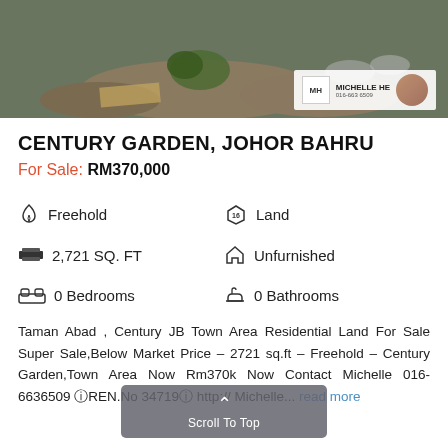[Figure (photo): Exterior/garden photo of property with agent Michelle He overlay badge]
CENTURY GARDEN, JOHOR BAHRU
For Sale: RM370,000
Freehold
Land
2,721 SQ. FT
Unfurnished
0 Bedrooms
0 Bathrooms
Taman Abad , Century JB Town Area Residential Land For Sale Super Sale,Below Market Price – 2721 sq.ft – Freehold – Century Garden,Town Area Now Rm370k Now Contact Michelle 016-6636509 ⓘREN.No 34719ⓘ http:// Michelle... read more